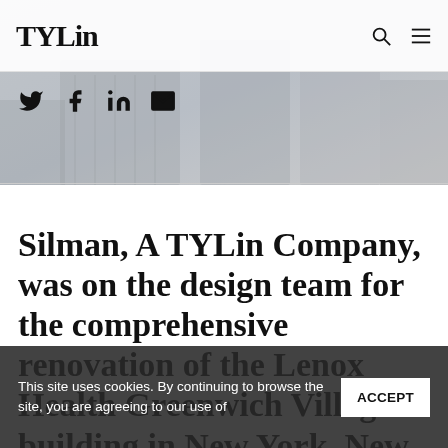[Figure (photo): Background hero image — architectural/building photograph, gray tones]
TYLin
Social share icons: Twitter, Facebook, LinkedIn, Email
Silman, A TYLin Company, was on the design team for the comprehensive renovation of the Lenox Health Greenwich Village building in New York, New York.
This site uses cookies. By continuing to browse the site, you are agreeing to our use of   ACCEPT